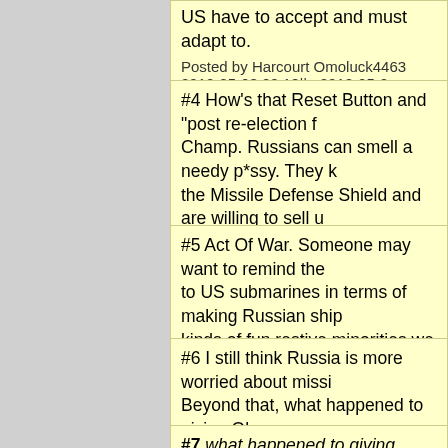US have to accept and must adapt to.
Posted by Harcourt Omoluck4463 2012-05-03 20:18||   2012-05-0...
#4 How's that Reset Button and "post re-election f... Champ. Russians can smell a needy p*ssy. They k... the Missile Defense Shield and are willing to sell u...
Posted by Frank G 2012-05-03 21:29||   2012-05-03 21:29|| Fron...
#5 Act Of War. Someone may want to remind the... to US submarines in terms of making Russian ship... kinds of fun restive minorities we can fund inside...
Posted by OldSpook 2012-05-03 22:18||   2012-05-03 22:18|| Fr...
#6 I still think Russia is more worried about missi... Beyond that, what happened to giving Obama roo... sound bite got out, or this is fake barking to give O... policy hero.
Posted by rjschwarz 2012-05-03 22:45||   2012-05-03 22:45|| Fro...
#7 what happened to giving Obama room?
reality. Unknown (to him) disclosures that he'd se...